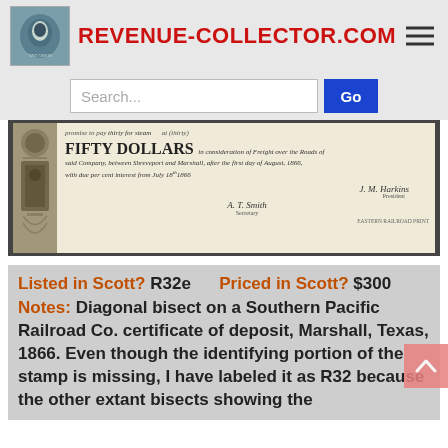REVENUE-COLLECTOR.COM
[Figure (photo): Scanned historical document showing a Southern Pacific Railroad Co. certificate of deposit with 'FIFTY DOLLARS' in large text, cursive writing, and decorative engravings on the left side.]
Listed in Scott? R32e     Priced in Scott? $300
Notes: Diagonal bisect on a Southern Pacific Railroad Co. certificate of deposit, Marshall, Texas, 1866. Even though the identifying portion of the stamp is missing, I have labeled it as R32 because the other extant bisects showing the bottom half of the stamp are the same.